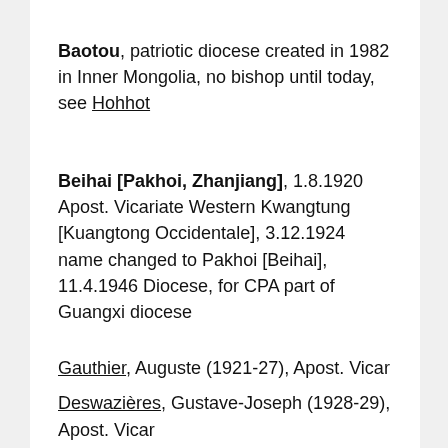Baotou, patriotic diocese created in 1982 in Inner Mongolia, no bishop until today, see Hohhot
Beihai [Pakhoi, Zhanjiang], 1.8.1920 Apost. Vicariate Western Kwangtung [Kuangtong Occidentale], 3.12.1924 name changed to Pakhoi [Beihai], 11.4.1946 Diocese, for CPA part of Guangxi diocese
Gauthier, Auguste (1921-27), Apost. Vicar
Deswazières, Gustave-Joseph (1928-29), Apost. Vicar
Penicaud, Jean-Baptiste (1929-40), Apost. Vicar